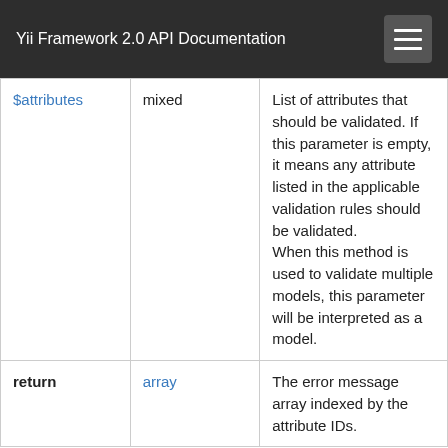Yii Framework 2.0 API Documentation
|  |  |  |
| --- | --- | --- |
| $attributes | mixed | List of attributes that should be validated. If this parameter is empty, it means any attribute listed in the applicable validation rules should be validated.
When this method is used to validate multiple models, this parameter will be interpreted as a model. |
| return | array | The error message array indexed by the attribute IDs. |